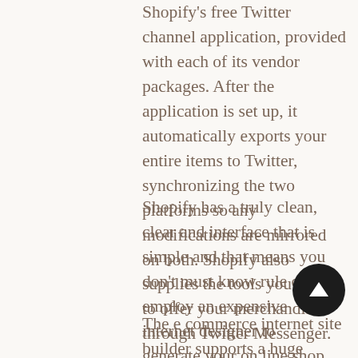Shopify's free Twitter channel application, provided with each of its vendor packages. After the application is set up, it automatically exports your entire items to Twitter, synchronizing the two platforms so any modifications are mirrored on both. Shopify also supplies the tools you ought to offer your merchandise through Twitter Messenger.
Shopify has a truly clean, clear and interface that is simple and that means you don't must know rule or employ an expensive internet designer to generate your on line shop. Additionally lets you offer across other stations, including Instagram, Amazon and e-bay.
The e commerce internet site builder supports a huge selection of re payment